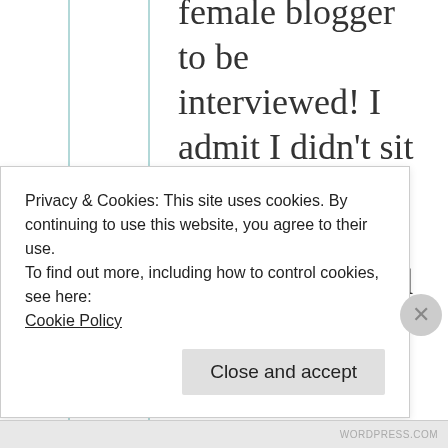female blogger to be interviewed! I admit I didn't sit through the whole thing.... but what I heard was fun. Tell it like it is lady!!
★ Liked by 1 person
Privacy & Cookies: This site uses cookies. By continuing to use this website, you agree to their use.
To find out more, including how to control cookies, see here:
Cookie Policy
Close and accept